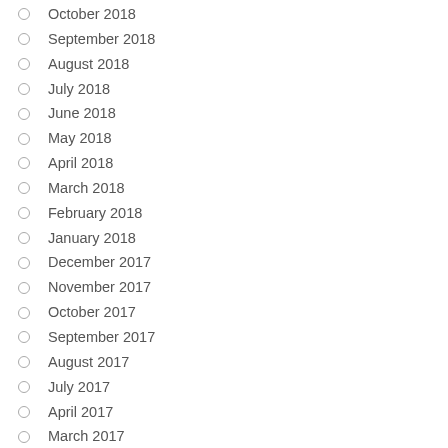October 2018
September 2018
August 2018
July 2018
June 2018
May 2018
April 2018
March 2018
February 2018
January 2018
December 2017
November 2017
October 2017
September 2017
August 2017
July 2017
April 2017
March 2017